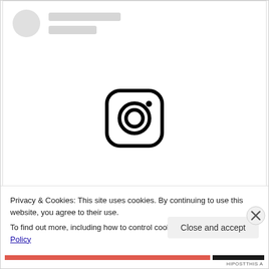[Figure (screenshot): Instagram embedded post placeholder showing a grey avatar circle and grey placeholder lines for username, with the Instagram camera logo icon centered below, and a 'View this post on Instagram' link in blue text at the bottom of the embed area.]
View this post on Instagram
Privacy & Cookies: This site uses cookies. By continuing to use this website, you agree to their use.
To find out more, including how to control cookies, see here: Cookie Policy
Close and accept